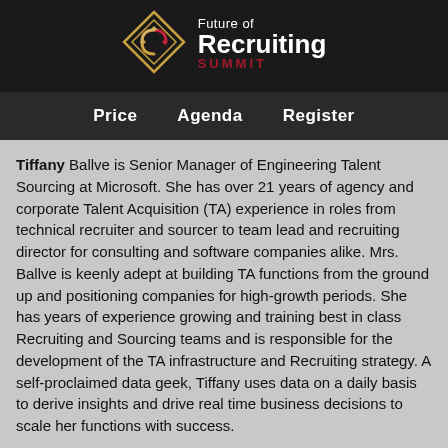[Figure (logo): Future of Recruiting Summit logo — diamond/square shape with swirling arrows icon in gold/pink, text 'Future of Recruiting SUMMIT' in white and dark red]
Price   Agenda   Register
Tiffany Ballve is Senior Manager of Engineering Talent Sourcing at Microsoft. She has over 21 years of agency and corporate Talent Acquisition (TA) experience in roles from technical recruiter and sourcer to team lead and recruiting director for consulting and software companies alike. Mrs. Ballve is keenly adept at building TA functions from the ground up and positioning companies for high-growth periods. She has years of experience growing and training best in class Recruiting and Sourcing teams and is responsible for the development of the TA infrastructure and Recruiting strategy. A self-proclaimed data geek, Tiffany uses data on a daily basis to derive insights and drive real time business decisions to scale her functions with success.